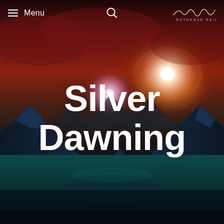[Figure (illustration): Dramatic fantasy landscape with dark blue mountains, teal reflective water at the bottom, and a deep red-orange sky with glowing light sources resembling suns or moons. The scene has a science-fiction or fantasy aesthetic.]
≡ Menu  🔍  RUTHANSE REID
Silver Dawning